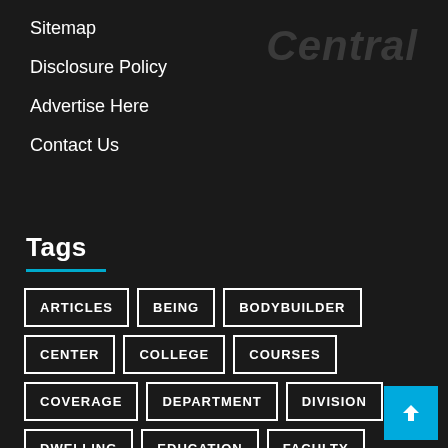Sitemap
Disclosure Policy
Advertise Here
Contact Us
Tags
ARTICLES
BEING
BODYBUILDER
CENTER
COLLEGE
COURSES
COVERAGE
DEPARTMENT
DIVISION
DWELLING
EDUCATION
FACULTY
FITNESS
GREATEST
GROUP
HEALTH